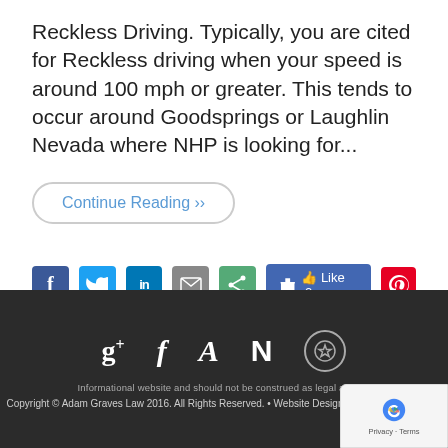Reckless Driving. Typically, you are cited for Reckless driving when your speed is around 100 mph or greater. This tends to occur around Goodsprings or Laughlin Nevada where NHP is looking for...
Continue Reading »
[Figure (other): Social media sharing bar with Facebook, Twitter, LinkedIn, email, share icons, a Facebook Like button showing 0 likes, and a Pinterest icon]
[Figure (other): Footer with Google+, Facebook, Avvo, Newsweek, and award social/profile icons in white on dark background]
Informational website and should not be construed as legal advice.
Copyright © Adam Graves Law 2016. All Rights Reserved. • Website Design P The Search Source